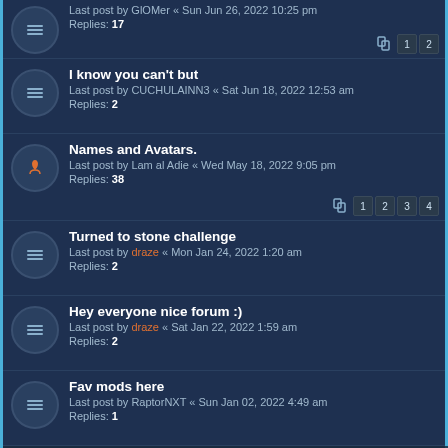Last post by GlOMer « Sun Jun 26, 2022 10:25 pm
Replies: 17
I know you can't but
Last post by CUCHULAINN3 « Sat Jun 18, 2022 12:53 am
Replies: 2
Names and Avatars.
Last post by Lam al Adie « Wed May 18, 2022 9:05 pm
Replies: 38
Turned to stone challenge
Last post by draze « Mon Jan 24, 2022 1:20 am
Replies: 2
Hey everyone nice forum :)
Last post by draze « Sat Jan 22, 2022 1:59 am
Replies: 2
Fav mods here
Last post by RaptorNXT « Sun Jan 02, 2022 4:49 am
Replies: 1
Merry Christmas
Last post by GlOMer « Sun Dec 19, 2021 7:17 pm
Replies: 20
Happy Holidays!
Last post by RaptorNXT « Thu Nov 25, 2021 3:17 pm
Replies: 107
Unusual hero names and other curiosities
Last post by Kage « Mon Nov 08, 2021 12:19 am
Replies: 14
This website uses cookies to ensure you get the best experience on our website. Learn more
Got it!